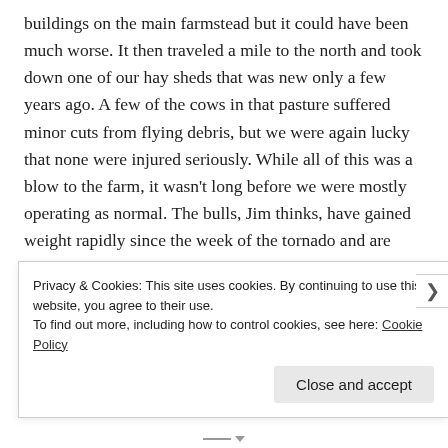buildings on the main farmstead but it could have been much worse. It then traveled a mile to the north and took down one of our hay sheds that was new only a few years ago. A few of the cows in that pasture suffered minor cuts from flying debris, but we were again lucky that none were injured seriously. While all of this was a blow to the farm, it wasn't long before we were mostly operating as normal. The bulls, Jim thinks, have gained weight rapidly since the week of the tornado and are looking great. (Stress eating?) We hope he doesn't start analyzing the stats too closely and decide there may be something scientific we need to explore repeating in the future. With all joking aside, we are happy to be able to
Privacy & Cookies: This site uses cookies. By continuing to use this website, you agree to their use.
To find out more, including how to control cookies, see here: Cookie Policy